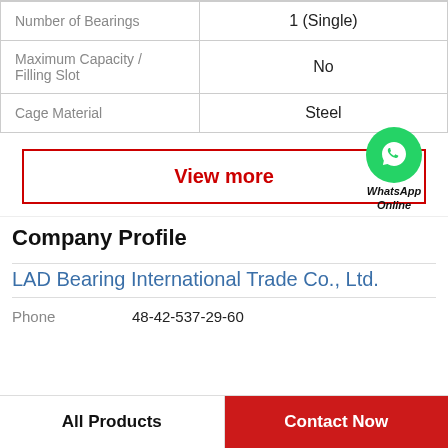| Property | Value |
| --- | --- |
| Number of Bearings | 1 (Single) |
| Maximum Capacity / Filling Slot | No |
| Cage Material | Steel |
View more
[Figure (logo): WhatsApp green circle icon with phone handset, labeled WhatsApp Online]
Company Profile
LAD Bearing International Trade Co., Ltd.
Phone  48-42-537-29-60
All Products
Contact Now